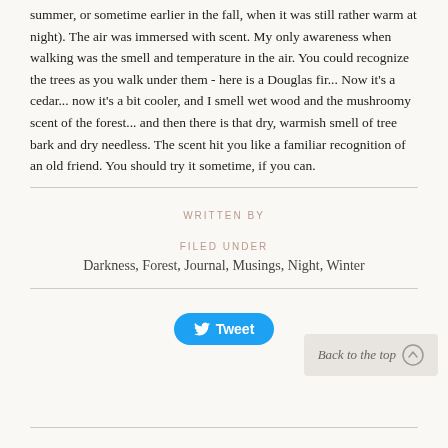summer, or sometime earlier in the fall, when it was still rather warm at night). The air was immersed with scent. My only awareness when walking was the smell and temperature in the air. You could recognize the trees as you walk under them - here is a Douglas fir... Now it's a cedar... now it's a bit cooler, and I smell wet wood and the mushroomy scent of the forest... and then there is that dry, warmish smell of tree bark and dry needless. The scent hit you like a familiar recognition of an old friend. You should try it sometime, if you can.
WRITTEN BY
FILED UNDER
Darkness, Forest, Journal, Musings, Night, Winter